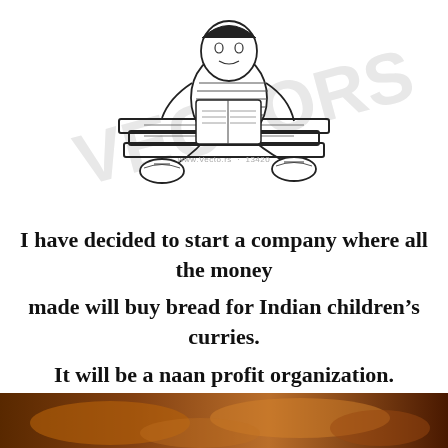[Figure (illustration): Line art illustration of a child sitting cross-legged on books, reading, with shoes nearby. Large watermark text 'VECTORS' visible in background.]
www.Vecto.rs · 13420
I have decided to start a company where all the money

made will buy bread for Indian children's curries.

It will be a naan profit organization.
[Figure (photo): Photo of food, visible at the bottom of the page, partially cropped.]